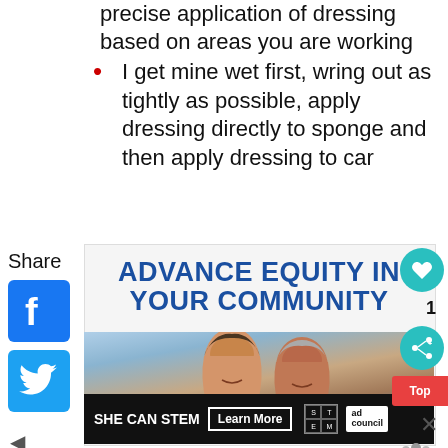precise application of dressing based on areas you are working
I get mine wet first, wring out as tightly as possible, apply dressing directly to sponge and then apply dressing to car
Share
[Figure (screenshot): Facebook share button icon (blue)]
[Figure (screenshot): Twitter share button icon (blue)]
[Figure (illustration): Advertisement: ADVANCE EQUITY IN YOUR COMMUNITY with two women smiling, SHE CAN STEM Learn More, ad council logo]
[Figure (other): Social action buttons: heart/love (teal), count 1, share (teal), Top button (red), close X, weather icon]